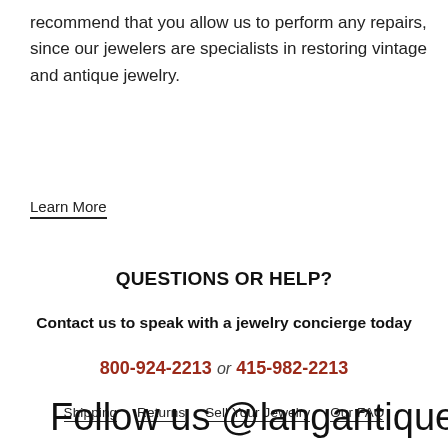recommend that you allow us to perform any repairs, since our jewelers are specialists in restoring vintage and antique jewelry.
Learn More
QUESTIONS OR HELP?
Contact us to speak with a jewelry concierge today
800-924-2213 or 415-982-2213
Shipping   Returns   Sell Your Jewelry   Our FAQ
Follow us @langantiques fo